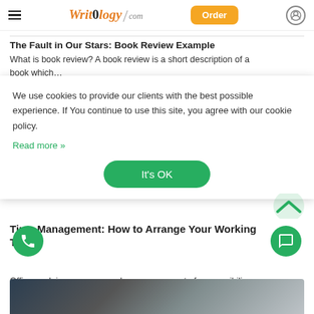Writology.com — Order
The Fault in Our Stars: Book Review Example
What is book review? A book review is a short description of a book which…
We use cookies to provide our clients with the best possible experience. If You continue to use this site, you agree with our cookie policy. Read more »
It's OK
Time Management: How to Arrange Your Working T…
Office work imposes on employees some sort of responsibility. You know for sure the time…
[Figure (photo): Bottom partial image of a phone/car dashboard scene]